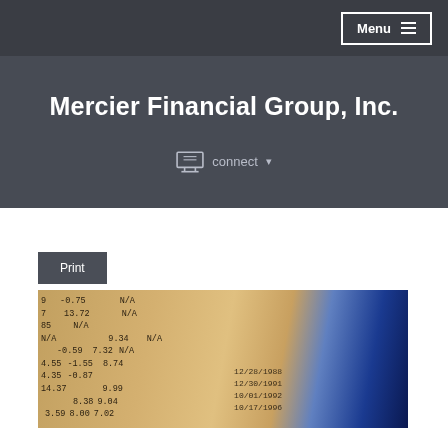Menu
Mercier Financial Group, Inc.
connect ▾
Print
[Figure (photo): Close-up photograph of a financial newspaper or data printout showing columns of numbers including values like -0.75, 13.72, N/A, 9.34, 7.32, -0.59, -1.55, -0.87, 8.74, 9.99, 9.04, 8.38, 8.00, 7.02, 3.59, 12/28/1988, 12/30/1991, 10/01/1992, 10/17/1996, with a blue gradient on the right side]